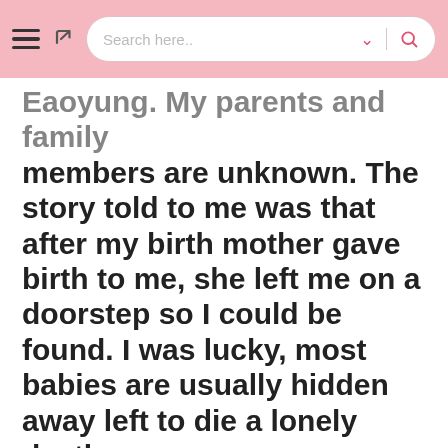Search here..
Eaoyung. My parents and family members are unknown. The story told to me was that after my birth mother gave birth to me, she left me on a doorstep so I could be found. I was lucky, most babies are usually hidden away left to die a lonely death.
In the vacuum before my adoption, I alternated between foster parents and the welfare centre. At 2 years old, I made the one-way journey to the UK.
Growing up I often struggled with this history. I understood that life was better in the U.K. I had access